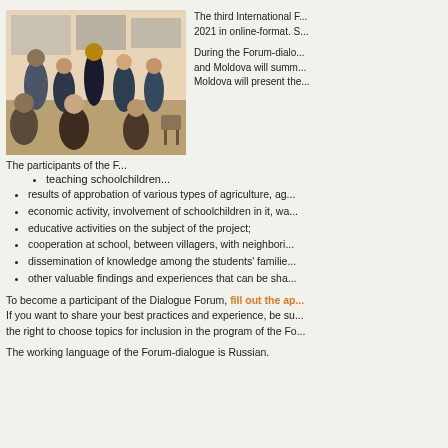[Figure (photo): Group of people in a classroom or workshop setting, standing in a circle, with posters on the wall in the background.]
The third International F... 2021 in online-format. S...
During the Forum-dialog... and Moldova will summ... Moldova will present the...
The participants of the F...
teaching schoolchildren...
results of approbation of various types of agriculture, ag...
economic activity, involvement of schoolchildren in it, wa...
educative activities on the subject of the project;
cooperation at school, between villagers, with neighbori...
dissemination of knowledge among the students' familie...
other valuable findings and experiences that can be sha...
To become a participant of the Dialogue Forum, fill out the ap... If you want to share your best practices and experience, be su... the right to choose topics for inclusion in the program of the Fo...
The working language of the Forum-dialogue is Russian.